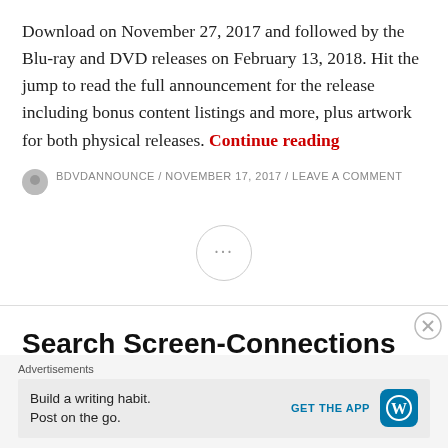Download on November 27, 2017 and followed by the Blu-ray and DVD releases on February 13, 2018. Hit the jump to read the full announcement for the release including bonus content listings and more, plus artwork for both physical releases. Continue reading
BDVDANNOUNCE / NOVEMBER 17, 2017 / LEAVE A COMMENT
[Figure (other): A circle with three dots (ellipsis) used as a page/section separator]
Search Screen-Connections
Advertisements
Build a writing habit. Post on the go. GET THE APP